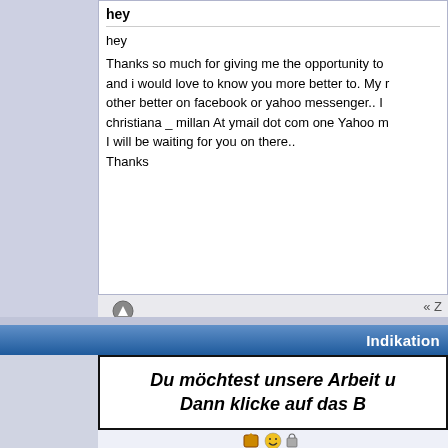hey

hey

Thanks so much for giving me the opportunity to and i would love to know you more better to. My other better on facebook or yahoo messenger.. I christiana _ millan At ymail dot com one Yahoo m I will be waiting for you on there.. Thanks
« Z
Indikation
[Figure (other): Advertisement banner with bold italic German text: Du möchtest unsere Arbeit u... Dann klicke auf das B...]
lemansue
Themenstarter
General Counsel
★★★
Offline
trust no cheater
Re: Christiana <christiana_millan@ymail.com>
Antwort #1 - 20. Oktober 2012 um 16:00

also to find on facebook with this email address
https://www.facebook.com/christiana.millan.3